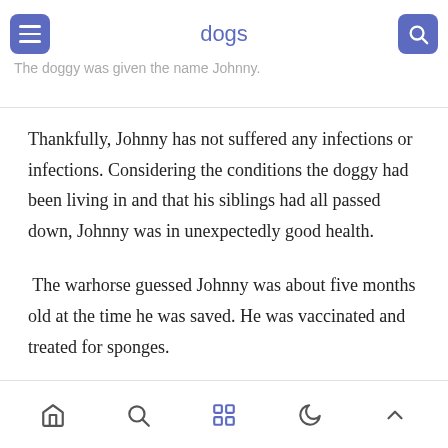dogs
The doggy was given the name Johnny.
Thankfully, Johnny has not suffered any infections or infections. Considering the conditions the doggy had been living in and that his siblings had all passed down, Johnny was in unexpectedly good health.
The warhorse guessed Johnny was about five months old at the time he was saved. He was vaccinated and treated for sponges.
Navigation bar with home, search, grid, moon, and up-arrow icons